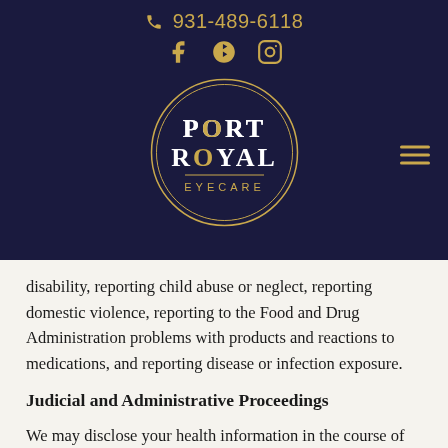931-489-6118
[Figure (logo): Port Royal Eyecare circular logo with gold and white text on dark navy background, gold circle border]
disability, reporting child abuse or neglect, reporting domestic violence, reporting to the Food and Drug Administration problems with products and reactions to medications, and reporting disease or infection exposure.
Judicial and Administrative Proceedings
We may disclose your health information in the course of any administrative, or judicial proceeding.